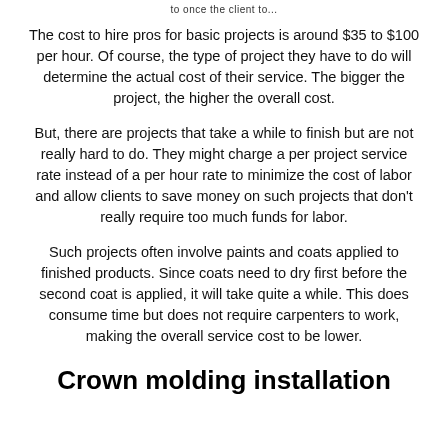to once the client to...
The cost to hire pros for basic projects is around $35 to $100 per hour. Of course, the type of project they have to do will determine the actual cost of their service. The bigger the project, the higher the overall cost.
But, there are projects that take a while to finish but are not really hard to do. They might charge a per project service rate instead of a per hour rate to minimize the cost of labor and allow clients to save money on such projects that don't really require too much funds for labor.
Such projects often involve paints and coats applied to finished products. Since coats need to dry first before the second coat is applied, it will take quite a while. This does consume time but does not require carpenters to work, making the overall service cost to be lower.
Crown molding installation